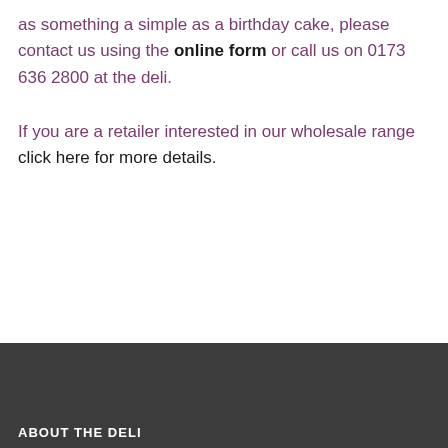as something a simple as a birthday cake, please contact us using the online form or call us on 0173 636 2800 at the deli.
If you are a retailer interested in our wholesale range click here for more details.
ABOUT THE DELI